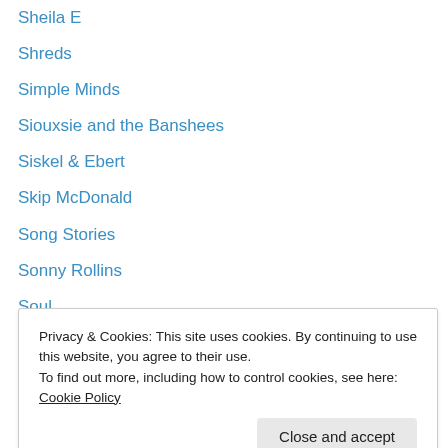Sheila E
Shreds
Simple Minds
Siouxsie and the Banshees
Siskel & Ebert
Skip McDonald
Song Stories
Sonny Rollins
Soul
Soundtracks
Southern Comfort
Spitting Image
Stanley Clarke
Privacy & Cookies: This site uses cookies. By continuing to use this website, you agree to their use.
To find out more, including how to control cookies, see here: Cookie Policy
Steven Spielberg